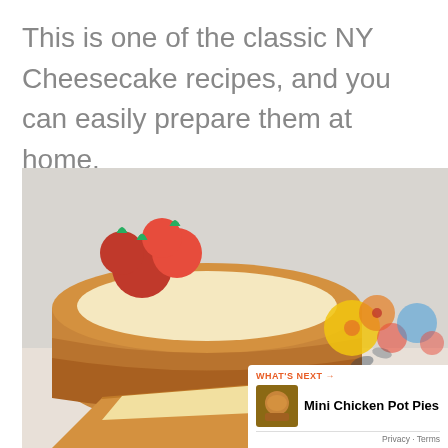This is one of the classic NY Cheesecake recipes, and you can easily prepare them at home.
[Figure (photo): Close-up photo of NY cheesecake with fresh strawberries on top, golden crust visible, colorful floral decoration blurred in background. UI overlays: heart/like button, count 102, share button, 'What's Next' card for Mini Chicken Pot Pies.]